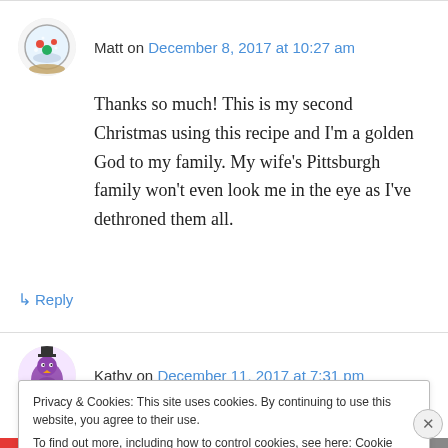Matt on December 8, 2017 at 10:27 am
Thanks so much! This is my second Christmas using this recipe and I'm a golden God to my family. My wife's Pittsburgh family won't even look me in the eye as I've dethroned them all.
↳ Reply
Kathy on December 11, 2017 at 7:31 pm
Privacy & Cookies: This site uses cookies. By continuing to use this website, you agree to their use. To find out more, including how to control cookies, see here: Cookie Policy
Close and accept